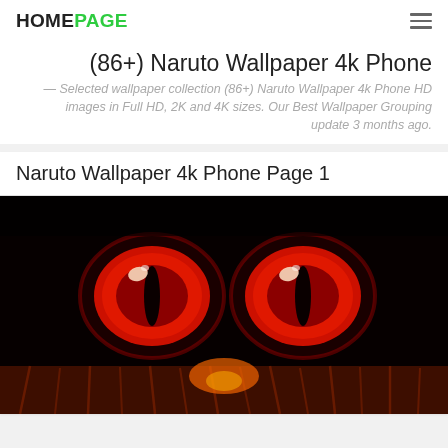HOMEPAGE
(86+) Naruto Wallpaper 4k Phone
— Selected wallpaper collection (86+) Naruto Wallpaper 4k Phone HD images in Full HD, 2K and 4K sizes. Our Best Wallpaper Grouping update 3 months ago.
Naruto Wallpaper 4k Phone Page 1
[Figure (illustration): Dark anime illustration showing glowing red fox/demon eyes (Nine-Tails / Kurama from Naruto) with slit pupils on a black background, with reddish fur visible at the bottom.]